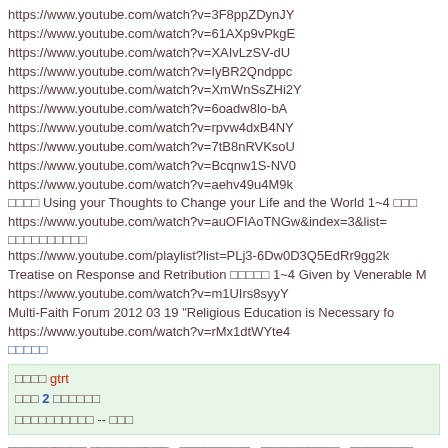https://www.youtube.com/watch?v=3F8ppZDynJY
https://www.youtube.com/watch?v=61AXp9vPkgE
https://www.youtube.com/watch?v=XAIvLzSV-dU
https://www.youtube.com/watch?v=IyBR2Qndppc
https://www.youtube.com/watch?v=XmWnSsZHi2Y
https://www.youtube.com/watch?v=6oadw8lo-bA
https://www.youtube.com/watch?v=rpvw4dxB4NY
https://www.youtube.com/watch?v=7tB8nRVKsoU
https://www.youtube.com/watch?v=Bcqnw1S-NV0
https://www.youtube.com/watch?v=aehv49u4M9k
□□□□ Using your Thoughts to Change your Life and the World 1~4 □□□
https://www.youtube.com/watch?v=auOFIAoTNGw&index=3&list=
□□□□□□□□□□
https://www.youtube.com/playlist?list=PLj3-6Dw0D3Q5EdRr9gg2k
Treatise on Response and Retribution □□□□□ 1~4 Given by Venerable M
https://www.youtube.com/watch?v=m1UIrs8syyY
Multi-Faith Forum 2012 03 19 "Religious Education is Necessary fo
https://www.youtube.com/watch?v=rMx1dtWYte4
□□□□□
□□□□ gtrt
□□□ 2 □□□□□□
□□□□□□□□□□ -- □□□
□□□□□□□□□□ □□□□□□□□□□ , □□□□□□□□□ , □□□□□□□□□□ , □□□□□□□□